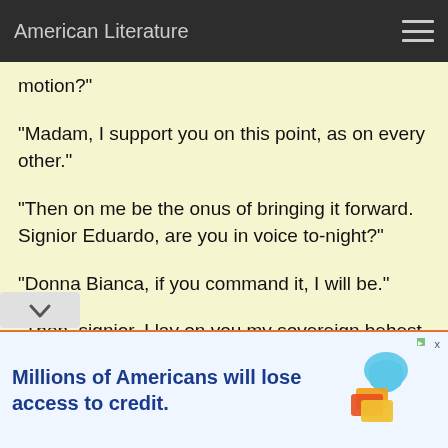American Literature
motion?"
"Madam, I support you on this point, as on every other."
"Then on me be the onus of bringing it forward. Signior Eduardo, are you in voice to-night?"
"Donna Bianca, if you command it, I will be."
"Then, signior, I lay on you my sovereign behest to furbish up your lungs and other vocal organs, as will be wanted on my royal service."
[Figure (other): Advertisement banner: 'Millions of Americans will lose access to credit.' with orange credit card icons]